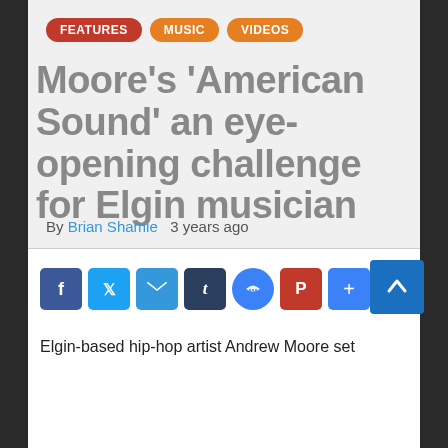FEATURES  MUSIC  VIDEOS
Moore’s ‘American Sound’ an eye-opening challenge for Elgin musician
By Brian Shamie  3 years ago
[Figure (infographic): Social sharing buttons: Facebook, Twitter, Email, Tumblr, Messenger, Pinterest, Plus. Scroll-to-top button at bottom right.]
Elgin-based hip-hop artist Andrew Moore set